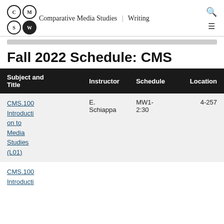Comparative Media Studies | Writing
Fall 2022 Schedule: CMS
| Subject and Title | Instructor | Schedule | Location |
| --- | --- | --- | --- |
| CMS.100 Introduction to Media Studies (L01) | E. Schiappa | MW1-2:30 | 4-257 |
| CMS.100 Introducti… |  |  |  |